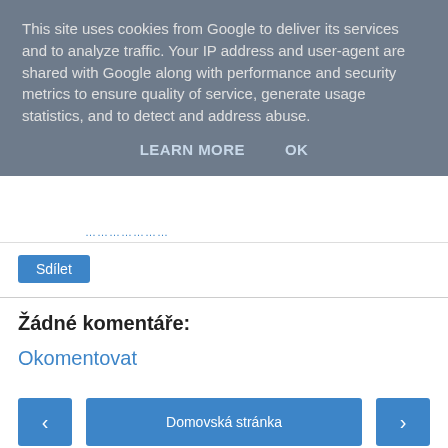This site uses cookies from Google to deliver its services and to analyze traffic. Your IP address and user-agent are shared with Google along with performance and security metrics to ensure quality of service, generate usage statistics, and to detect and address abuse.
LEARN MORE   OK
…………………
Sdílet
Žádné komentáře:
Okomentovat
‹   Domovská stránka   ›
Zobrazit verzi pro web
Používá technologii služby Blogger.